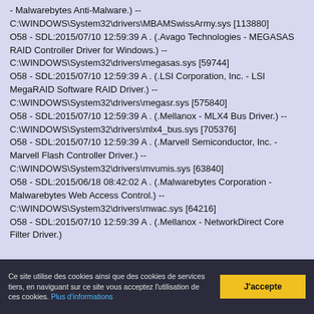- Malwarebytes Anti-Malware.) -- C:\WINDOWS\System32\drivers\MBAMSwissArmy.sys [113880]
O58 - SDL:2015/07/10 12:59:39 A . (.Avago Technologies - MEGASAS RAID Controller Driver for Windows.) -- C:\WINDOWS\System32\drivers\megasas.sys [59744]
O58 - SDL:2015/07/10 12:59:39 A . (.LSI Corporation, Inc. - LSI MegaRAID Software RAID Driver.) -- C:\WINDOWS\System32\drivers\megasr.sys [575840]
O58 - SDL:2015/07/10 12:59:39 A . (.Mellanox - MLX4 Bus Driver.) -- C:\WINDOWS\System32\drivers\mlx4_bus.sys [705376]
O58 - SDL:2015/07/10 12:59:39 A . (.Marvell Semiconductor, Inc. - Marvell Flash Controller Driver.) -- C:\WINDOWS\System32\drivers\mvumis.sys [63840]
O58 - SDL:2015/06/18 08:42:02 A . (.Malwarebytes Corporation - Malwarebytes Web Access Control.) -- C:\WINDOWS\System32\drivers\mwac.sys [64216]
O58 - SDL:2015/07/10 12:59:39 A . (.Mellanox - NetworkDirect Core Filter Driver.)
Ce site utilise des cookies ainsi que des cookies de services tiers, en naviguant sur ce site vous acceptez l'utilisation de ces cookies. Plus d'informations